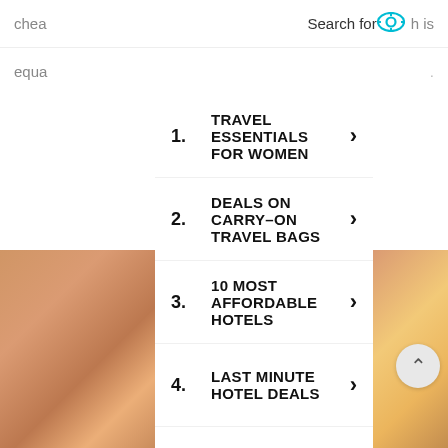chea Search for h is equa .
1. TRAVEL ESSENTIALS FOR WOMEN
2. DEALS ON CARRY-ON TRAVEL BAGS
3. 10 MOST AFFORDABLE HOTELS
4. LAST MINUTE HOTEL DEALS
5. TRAVEL DEALS FOR SENIORS